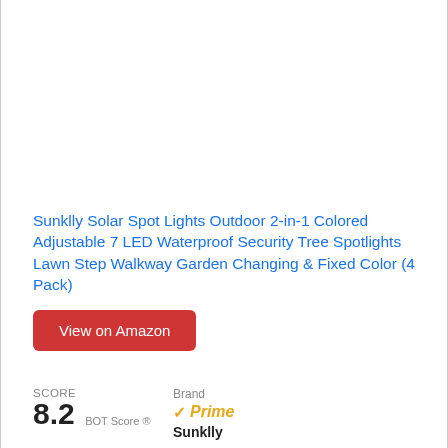[Figure (photo): Product image area (blank/white — product photo not visible)]
Sunklly Solar Spot Lights Outdoor 2-in-1 Colored Adjustable 7 LED Waterproof Security Tree Spotlights Lawn Step Walkway Garden Changing & Fixed Color (4 Pack)
View on Amazon
SCORE
8.2  BOT Score ®
Brand  ✓Prime
Sunklly